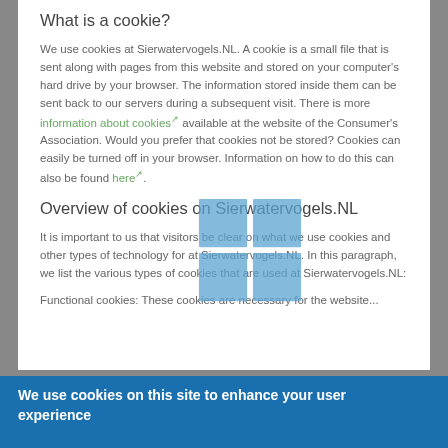What is a cookie?
We use cookies at Sierwatervogels.NL. A cookie is a small file that is sent along with pages from this website and stored on your computer's hard drive by your browser. The information stored inside them can be sent back to our servers during a subsequent visit. There is more information about cookies available at the website of the Consumer's Association. Would you prefer that cookies not be stored? Cookies can easily be turned off in your browser. Information on how to do this can also be found here.
[Figure (logo): Windows logo made of four blue squares arranged in a 2x2 grid]
Overview of cookies on Sierwatervogels.NL
It is important to us that visitors be clear on what we use cookies and other types of technology for at Sierwatervogels.NL. In this paragraph, we list the various types of cookies that are used at Sierwatervogels.NL:
Functional cookies: These cookies are necessary for the website...
We use cookies on this site to enhance your user experience